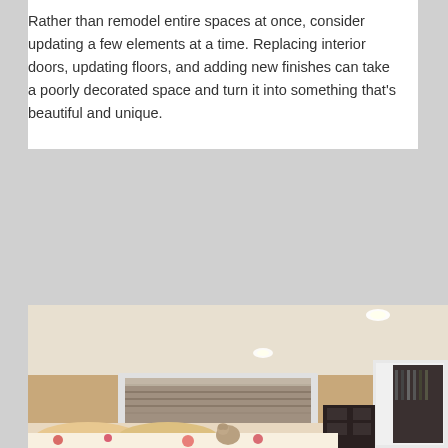Rather than remodel entire spaces at once, consider updating a few elements at a time. Replacing interior doors, updating floors, and adding new finishes can take a poorly decorated space and turn it into something that's beautiful and unique.
[Figure (photo): Interior photo of a bedroom with vaulted ceiling, recessed lighting, a large window with blinds showing exterior siding, a colorful bed with stuffed animals, a dark bookshelf/nightstand, and an open closet door on the right.]